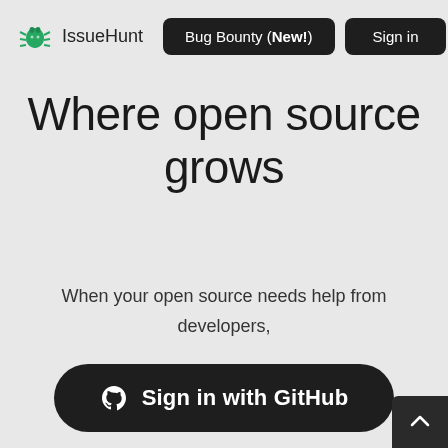IssueHunt   Bug Bounty (New!)   Sign in
Where open source grows
When your open source needs help from developers, IssueHunt has you covered.
Sign in with GitHub